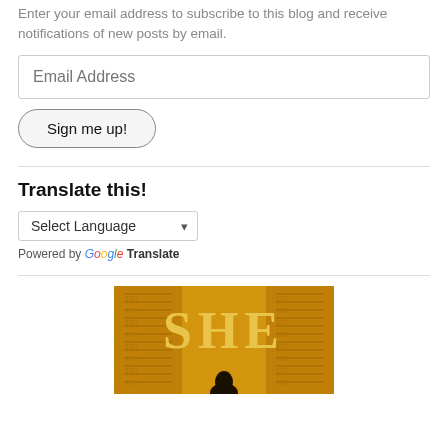Enter your email address to subscribe to this blog and receive notifications of new posts by email.
Email Address
Sign me up!
Translate this!
Select Language
Powered by Google Translate
[Figure (photo): Book cover showing 'SHE' in gold letters on a golden background with Egyptian hieroglyphics and a silhouette figure]